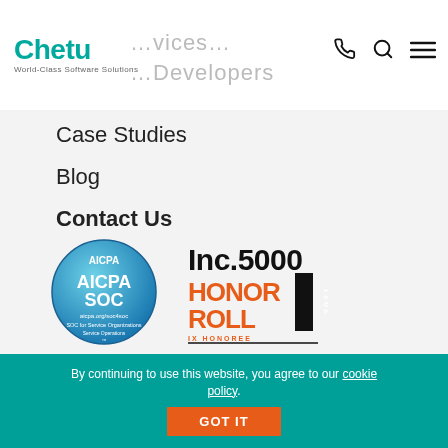Chetu — World-Class Software Solutions
Case Studies
Blog
Contact Us
[Figure (logo): AICPA SOC certification badge — blue circular badge with AICPA SOC text, aicpa.org/soc4soc, SOC for Service Organizations, Service Operations]
[Figure (logo): Inc.5000 Honor Roll 2021 badge — black and orange text, IX HONOREE]
Privacy Policy | Legal Policy | Careers | Sitemap | Feedback | Referral | Contact Us
By continuing to use this website, you agree to our cookie policy.
GOT IT